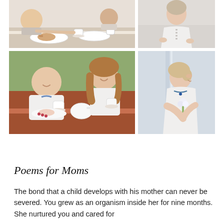[Figure (photo): Photo collage of mothers and daughters: top-left shows people dining at a table with plates and cups; top-right shows a woman in a white button-up top; bottom-left shows an older woman and a younger woman smiling and sharing tea/coffee outdoors; bottom-right shows an older woman in profile standing near glass windows holding flowers.]
Poems for Moms
The bond that a child develops with his mother can never be severed. You grew as an organism inside her for nine months. She nurtured you and cared for